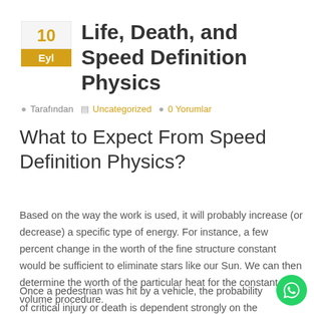Life, Death, and Speed Definition Physics
Tarafından  Uncategorized  0 Yorumlar
What to Expect From Speed Definition Physics?
Based on the way the work is used, it will probably increase (or decrease) a specific type of energy. For instance, a few percent change in the worth of the fine structure constant would be sufficient to eliminate stars like our Sun. We can then determine the worth of the particular heat for the constant volume procedure.
Once a pedestrian was hit by a vehicle, the probability of critical injury or death is dependent strongly on the impact